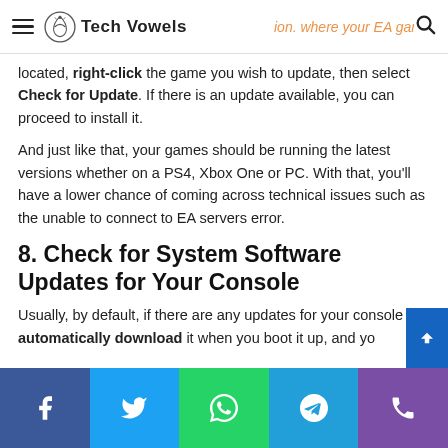Tech Vowels
located, right-click the game you wish to update, then select Check for Update. If there is an update available, you can proceed to install it.
And just like that, your games should be running the latest versions whether on a PS4, Xbox One or PC. With that, you'll have a lower chance of coming across technical issues such as the unable to connect to EA servers error.
8. Check for System Software Updates for Your Console
Usually, by default, if there are any updates for your console it'll automatically download it when you boot it up, and yo